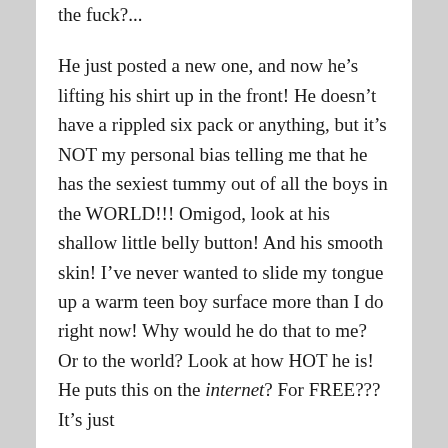the fuck?...
He just posted a new one, and now he’s lifting his shirt up in the front! He doesn’t have a rippled six pack or anything, but it’s NOT my personal bias telling me that he has the sexiest tummy out of all the boys in the WORLD!!! Omigod, look at his shallow little belly button! And his smooth skin! I’ve never wanted to slide my tongue up a warm teen boy surface more than I do right now! Why would he do that to me? Or to the world? Look at how HOT he is! He puts this on the internet? For FREE??? It’s just